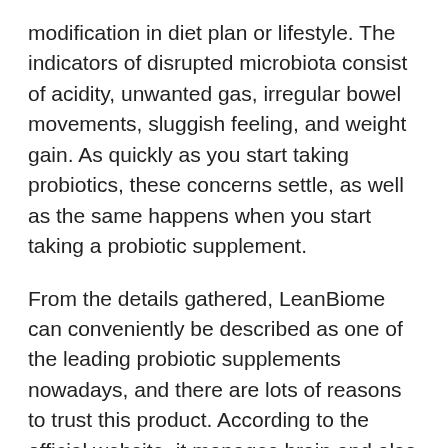modification in diet plan or lifestyle. The indicators of disrupted microbiota consist of acidity, unwanted gas, irregular bowel movements, sluggish feeling, and weight gain. As quickly as you start taking probiotics, these concerns settle, as well as the same happens when you start taking a probiotic supplement.
From the details gathered, LeanBiome can conveniently be described as one of the leading probiotic supplements nowadays, and there are lots of reasons to trust this product. According to the official website, it manages brain and also body sychronisation as well as controls the psychological and also physical sides of obesity at the same time. The outcomes include a faster